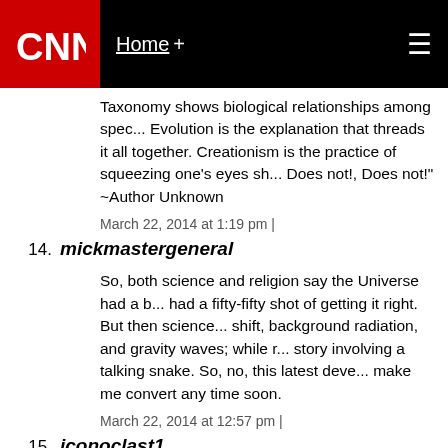CNN Home +
Taxonomy shows biological relationships among spec... Evolution is the explanation that threads it all together. Creationism is the practice of squeezing one's eyes sh... Does not!, Does not!" ~Author Unknown
March 22, 2014 at 1:19 pm |
14. mickmastergeneral
So, both science and religion say the Universe had a b... had a fifty-fifty shot of getting it right. But then science... shift, background radiation, and gravity waves; while r... story involving a talking snake. So, no, this latest deve... make me convert any time soon.
March 22, 2014 at 12:57 pm |
15. iconoclast1
Looking on the bright side, there is one positive aspe... many people fall prey to religious myths: it is helpful to... people are irrational. Otherwise, it would be quite hew...